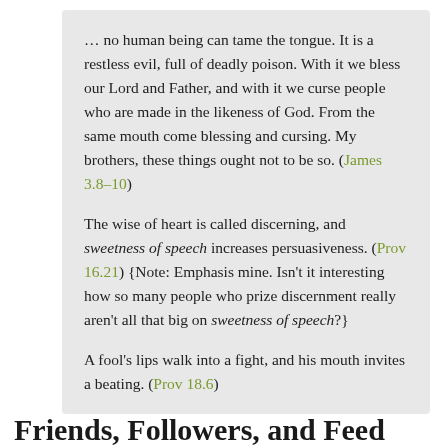… no human being can tame the tongue. It is a restless evil, full of deadly poison. With it we bless our Lord and Father, and with it we curse people who are made in the likeness of God. From the same mouth come blessing and cursing. My brothers, these things ought not to be so. (James 3.8–10)
The wise of heart is called discerning, and sweetness of speech increases persuasiveness. (Prov 16.21) {Note: Emphasis mine. Isn't it interesting how so many people who prize discernment really aren't all that big on sweetness of speech?}
A fool's lips walk into a fight, and his mouth invites a beating. (Prov 18.6)
Friends, Followers, and Feed